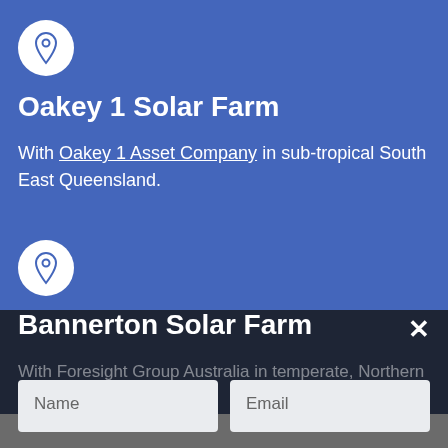[Figure (illustration): Location pin icon inside a white circle, first entry]
Oakey 1 Solar Farm
With Oakey 1 Asset Company in sub-tropical South East Queensland.
[Figure (illustration): Location pin icon inside a white circle, second entry]
Bannerton Solar Farm
With Foresight Group Australia in temperate, Northern
Name
Email
SIGN UP FOR PROA NEWS